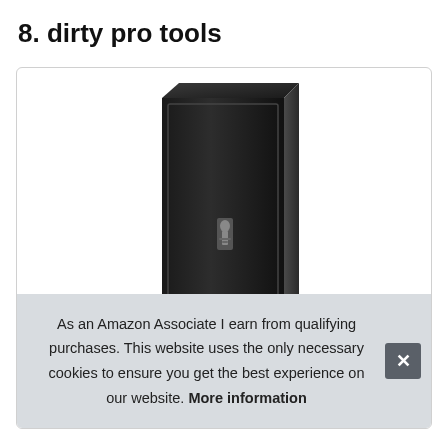8. dirty pro tools
[Figure (photo): A tall, narrow black gun safe with a key lock mechanism on the front door, standing upright against a white background.]
As an Amazon Associate I earn from qualifying purchases. This website uses the only necessary cookies to ensure you get the best experience on our website. More information